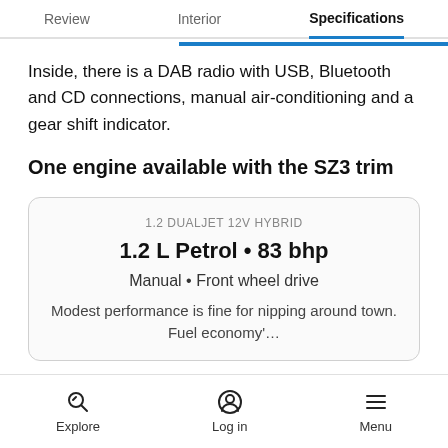Review  Interior  Specifications
Inside, there is a DAB radio with USB, Bluetooth and CD connections, manual air-conditioning and a gear shift indicator.
One engine available with the SZ3 trim
| 1.2 DUALJET 12V HYBRID |
| 1.2 L Petrol • 83 bhp |
| Manual • Front wheel drive |
| Modest performance is fine for nipping around town. Fuel economy'… |
Explore  Log in  Menu